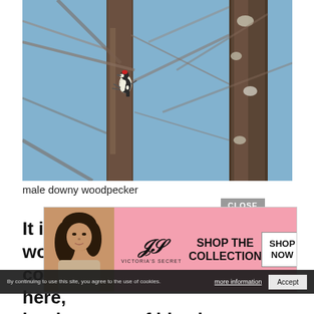[Figure (photo): A male downy woodpecker clinging to a tree trunk surrounded by bare branches against a blue sky background.]
male downy woodpecker
It is wo could be wrong in my on here, but because of his short beak, I am going
[Figure (screenshot): Victoria's Secret advertisement overlay with pink background, model photo, VS logo, 'SHOP THE COLLECTION' text, and 'SHOP NOW' button. Also shows a CLOSE button and a cookie consent bar with 'more information' and 'Accept' button.]